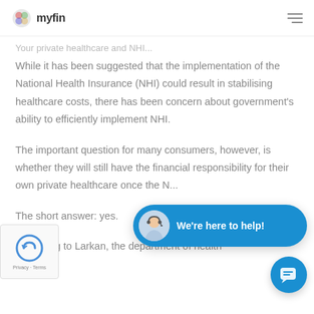myfin
Your private healthcare and NHI...
While it has been suggested that the implementation of the National Health Insurance (NHI) could result in stabilising healthcare costs, there has been concern about government's ability to efficiently implement NHI.
The important question for many consumers, however, is whether they will still have the financial responsibility for their own private healthcare once the NHI...
The short answer: yes.
According to Larkan, the department of health
[Figure (other): Blue chat widget with avatar and text 'We're here to help!']
[Figure (other): Blue circular chat button with message icon]
[Figure (other): reCAPTCHA Privacy-Terms badge]